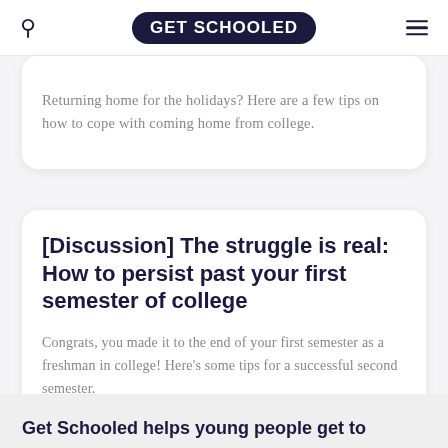GET SCHOOLED
Returning home for the holidays? Here are a few tips on how to cope with coming home from college.
[Discussion] The struggle is real: How to persist past your first semester of college
Congrats, you made it to the end of your first semester as a freshman in college! Here's some tips for a successful second semester.
Get Schooled helps young people get to